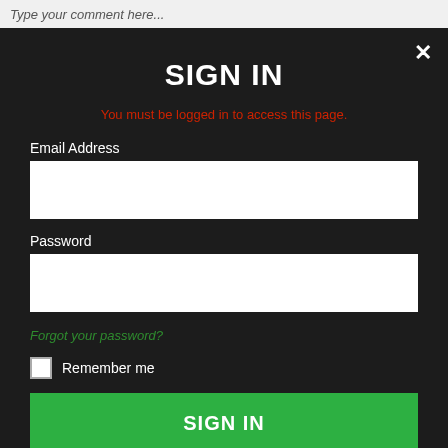Type your comment here...
SIGN IN
You must be logged in to access this page.
Email Address
Password
Forgot your password?
Remember me
SIGN IN
Don't have an account?